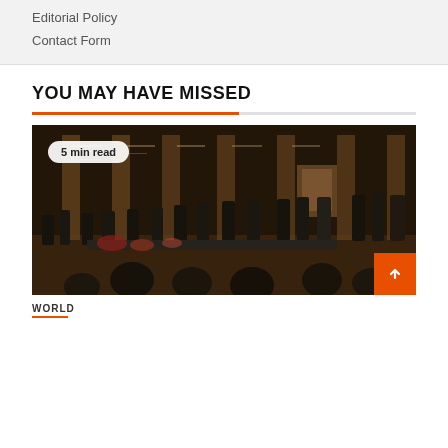Editorial Policy
Contact Form
YOU MAY HAVE MISSED
[Figure (photo): A large ornate hall with tall columns and walls covered in inscribed names. A group of people in formal and military attire stand in a row, some near a casket or ceremonial table with flowers. A portrait hangs on the far wall. An orange back-to-top button appears in the bottom right corner.]
5 min read
WORLD